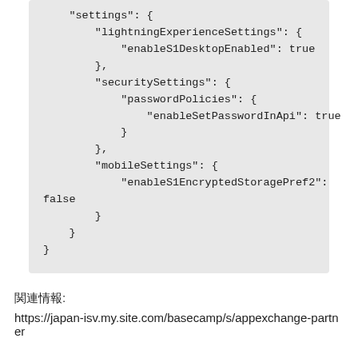"settings": {
    "lightningExperienceSettings": {
        "enableS1DesktopEnabled": true
    },
    "securitySettings": {
        "passwordPolicies": {
            "enableSetPasswordInApi": true
        }
    },
    "mobileSettings": {
        "enableS1EncryptedStoragePref2":
false
    }
}
関連情報:
https://japan-isv.my.site.com/basecamp/s/appexchange-partner